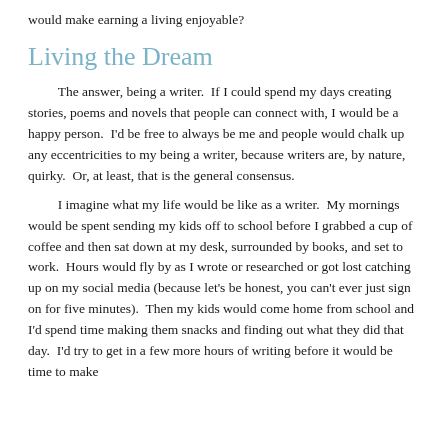would make earning a living enjoyable?
Living the Dream
The answer, being a writer.  If I could spend my days creating stories, poems and novels that people can connect with, I would be a happy person.  I'd be free to always be me and people would chalk up any eccentricities to my being a writer, because writers are, by nature, quirky.  Or, at least, that is the general consensus.
I imagine what my life would be like as a writer.  My mornings would be spent sending my kids off to school before I grabbed a cup of coffee and then sat down at my desk, surrounded by books, and set to work.  Hours would fly by as I wrote or researched or got lost catching up on my social media (because let's be honest, you can't ever just sign on for five minutes).  Then my kids would come home from school and I'd spend time making them snacks and finding out what they did that day.  I'd try to get in a few more hours of writing before it would be time to make